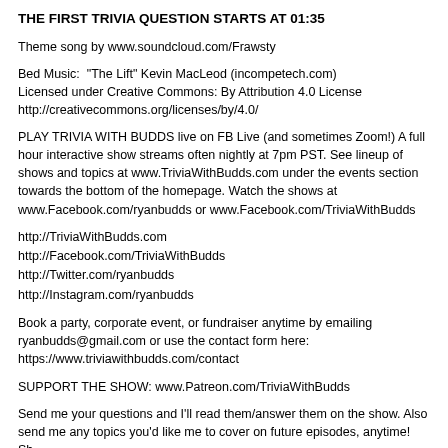THE FIRST TRIVIA QUESTION STARTS AT 01:35
Theme song by www.soundcloud.com/Frawsty
Bed Music:  "The Lift" Kevin MacLeod (incompetech.com)
Licensed under Creative Commons: By Attribution 4.0 License
http://creativecommons.org/licenses/by/4.0/
PLAY TRIVIA WITH BUDDS live on FB Live (and sometimes Zoom!) A full hour interactive show streams often nightly at 7pm PST. See lineup of shows and topics at www.TriviaWithBudds.com under the events section towards the bottom of the homepage. Watch the shows at www.Facebook.com/ryanbudds or www.Facebook.com/TriviaWithBudds
http://TriviaWithBudds.com
http://Facebook.com/TriviaWithBudds
http://Twitter.com/ryanbudds
http://Instagram.com/ryanbudds
Book a party, corporate event, or fundraiser anytime by emailing ryanbudds@gmail.com or use the contact form here: https://www.triviawithbudds.com/contact
SUPPORT THE SHOW: www.Patreon.com/TriviaWithBudds
Send me your questions and I'll read them/answer them on the show. Also send me any topics you'd like me to cover on future episodes, anytime! Sh…